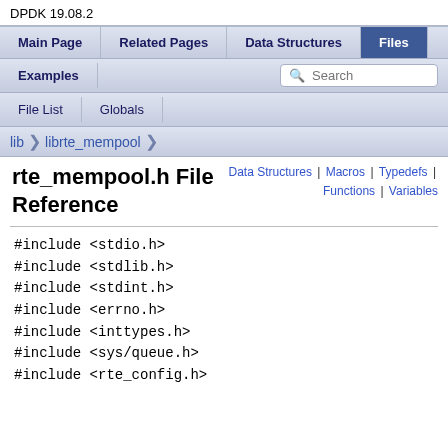DPDK  19.08.2
Main Page | Related Pages | Data Structures | Files
Examples | Search
File List | Globals
lib > librte_mempool
Data Structures | Macros | Typedefs | Functions | Variables
rte_mempool.h File Reference
#include <stdio.h>
#include <stdlib.h>
#include <stdint.h>
#include <errno.h>
#include <inttypes.h>
#include <sys/queue.h>
#include <rte_config.h>